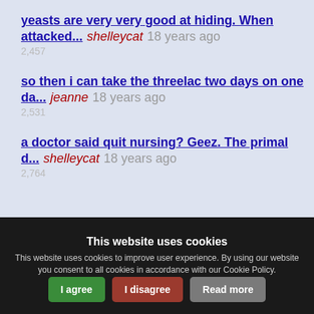yeasts are very very good at hiding. When attacked... shelleycat 18 years ago 2,457
so then i can take the threelac two days on one da... jeanne 18 years ago 2,531
a doctor said quit nursing? Geez. The primal d... shelleycat 18 years ago 2,764
This website uses cookies
This website uses cookies to improve user experience. By using our website you consent to all cookies in accordance with our Cookie Policy.